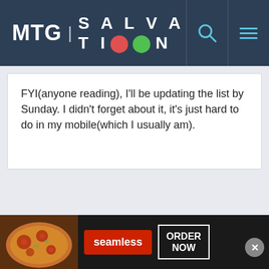MTG | SALVATION
FYI(anyone reading), I'll be updating the list by Sunday. I didn't forget about it, it's just hard to do in my mobile(which I usually am).
[Figure (screenshot): Seamless food delivery advertisement banner with pizza image, Seamless logo, and ORDER NOW button]